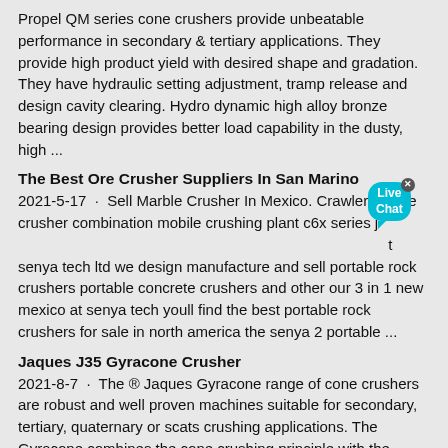Propel QM series cone crushers provide unbeatable performance in secondary & tertiary applications. They provide high product yield with desired shape and gradation. They have hydraulic setting adjustment, tramp release and design cavity clearing. Hydro dynamic high alloy bronze bearing design provides better load capability in the dusty, high ...
The Best Ore Crusher Suppliers In San Marino
2021-5-17 · Sell Marble Crusher In Mexico. Crawler mobile crusher combination mobile crushing plant c6x series jaw crusher sell marble crusher in mexico casadicurascarnate senya tech ltd we design manufacture and sell portable rock crushers portable concrete crushers and other our 3 in 1 new mexico at senya tech youll find the best portable rock crushers for sale in north america the senya 2 portable ...
Jaques J35 Gyracone Crusher
2021-8-7 · The ® Jaques Gyracone range of cone crushers are robust and well proven machines suitable for secondary, tertiary, quaternary or scats crushing applications. The Gyracone combines the cone crushing principle with the benefits of high speed anti-friction roller bearings. The maximum working loads are well below the design capacities of the ...
Impact crusher ICR-S-Libra | ARJA